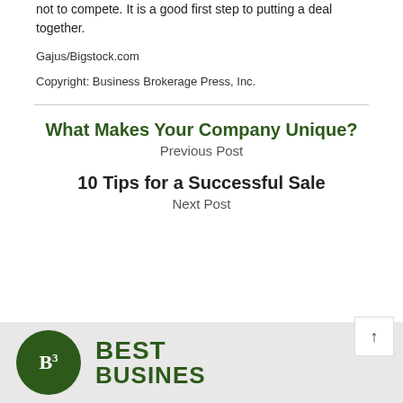not to compete. It is a good first step to putting a deal together.
Gajus/Bigstock.com
Copyright: Business Brokerage Press, Inc.
What Makes Your Company Unique?
Previous Post
10 Tips for a Successful Sale
Next Post
[Figure (logo): Best Business logo with green circle containing B3 and bold green text reading BEST BUSINESS]